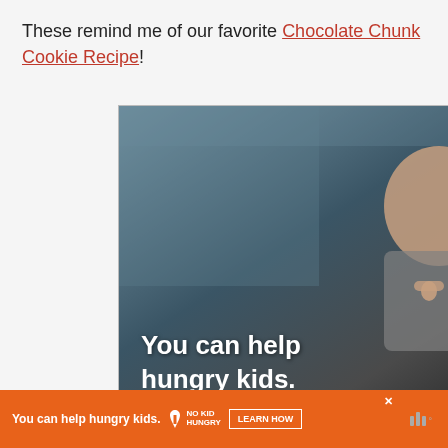These remind me of our favorite Chocolate Chunk Cookie Recipe!
[Figure (photo): Advertisement banner: 'No Kid Hungry' charity ad showing a young boy eating, with text 'You can help hungry kids.' and a 'LEARN HOW' button on an orange bar. Contains social like (24) and share buttons. Also shows a 'What's Next' thumbnail for Toll House Cookie Recipe.]
[Figure (photo): Small bottom banner ad: 'You can help hungry kids.' No Kid Hungry advertisement with LEARN HOW button in orange.]